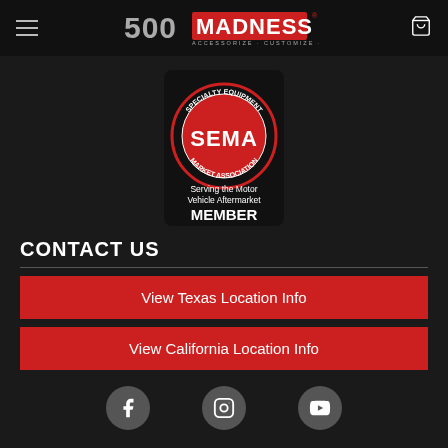500 MADNESS — ACCESSORIZE · CUSTOMIZE · PERSONALIZE
[Figure (logo): SEMA Specialty Equipment Market Association Member badge — circular red logo with SEMA text, 'Serving the Motor Vehicle Aftermarket', MEMBER text below]
CONTACT US
View Texas Location Info
View California Location Info
[Figure (other): Social media icons row: Facebook, Instagram, YouTube — white icons on grey circles]